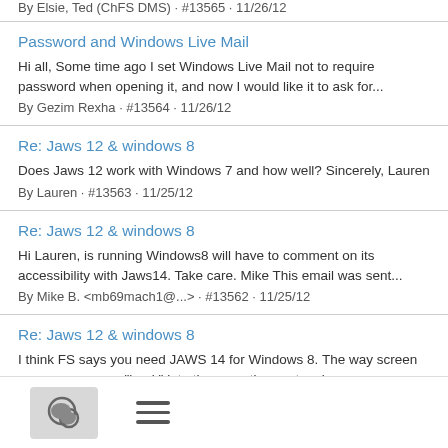By Elsie, Ted (CHFS DMS) · #13565 · 11/26/12
Password and Windows Live Mail
Hi all, Some time ago I set Windows Live Mail not to require password when opening it, and now I would like it to ask for...
By Gezim Rexha · #13564 · 11/26/12
Re: Jaws 12 & windows 8
Does Jaws 12 work with Windows 7 and how well? Sincerely, Lauren
By Lauren · #13563 · 11/25/12
Re: Jaws 12 & windows 8
Hi Lauren, is running Windows8 will have to comment on its accessibility with Jaws14. Take care. Mike This email was sent...
By Mike B. <mb69mach1@...> · #13562 · 11/25/12
Re: Jaws 12 & windows 8
I think FS says you need JAWS 14 for Windows 8. The way screen access programs "hook" into the operating system is...